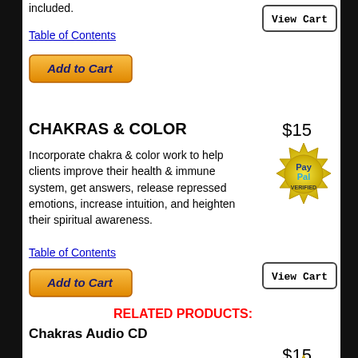included.
[Figure (screenshot): View Cart button]
Table of Contents
[Figure (screenshot): Add to Cart orange button]
CHAKRAS & COLOR
$15
Incorporate chakra & color work to help clients improve their health & immune system, get answers, release repressed emotions, increase intuition, and heighten their spiritual awareness.
[Figure (logo): PayPal Verified gold badge]
Table of Contents
[Figure (screenshot): View Cart button]
[Figure (screenshot): Add to Cart orange button]
RELATED PRODUCTS:
Chakras Audio CD
$15
A 45-minute guided self-hypnosis session in which you journey through the chakras, spending some time to reflect on the issues held in each and visualizing the
[Figure (logo): PayPal Verified gold badge]